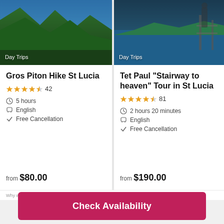[Figure (photo): Aerial mountain/forested landscape for Gros Piton Hike St Lucia with 'Day Trips' label]
Gros Piton Hike St Lucia
4.5 stars, 42 reviews
5 hours
English
Free Cancellation
from $80.00
[Figure (photo): Coastal/ocean scenic view for Tet Paul Stairway to heaven Tour in St Lucia with 'Day Trips' label]
Tet Paul "Stairway to heaven" Tour in St Lucia
4.5 stars, 81 reviews
2 hours 20 minutes
English
Free Cancellation
from $190.00
Check Availability